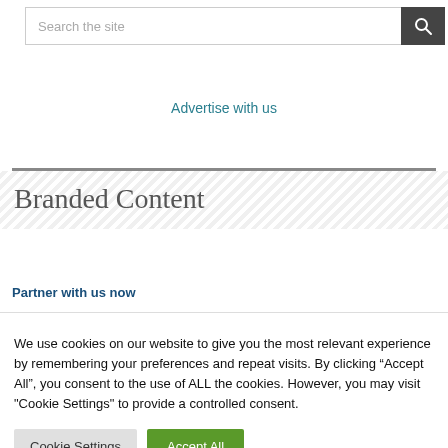[Figure (screenshot): Search bar with text input placeholder 'Search the site' and a dark search button with magnifying glass icon]
Advertise with us
Branded Content
Partner with us now
We use cookies on our website to give you the most relevant experience by remembering your preferences and repeat visits. By clicking “Accept All”, you consent to the use of ALL the cookies. However, you may visit "Cookie Settings" to provide a controlled consent.
Cookie Settings | Accept All